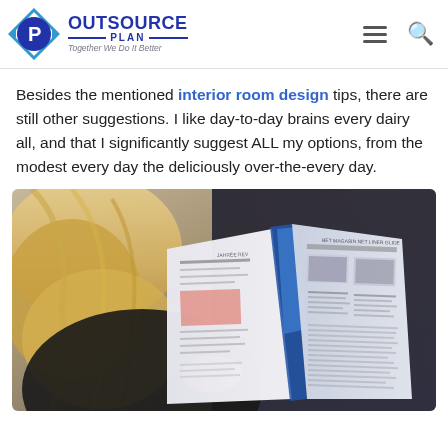OUTSOURCE PLAN — Together We Do It Better
Besides the mentioned interior room design tips, there are still other suggestions. I like day-to-day brains every dairy all, and that I significantly suggest ALL my options, from the modest every day the deliciously over-the-every day.
[Figure (photo): A blonde woman reading an open magazine/book with printed pages showing text columns and images]